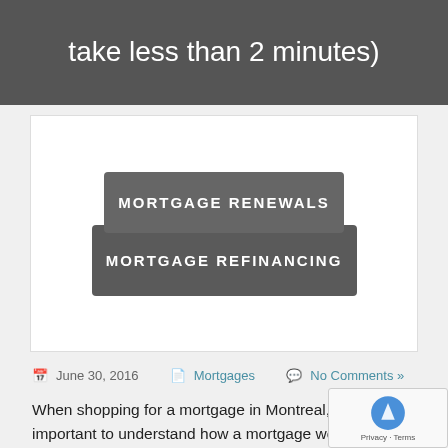take less than 2 minutes)
[Figure (other): Two dark grey buttons: MORTGAGE RENEWALS and MORTGAGE REFINANCING stacked inside a white card]
June 30, 2016  Mortgages  No Comments »
When shopping for a mortgage in Montreal, it is important to understand how a mortgage works. You can get a mortgage from one of the following, banks, insurance companies, trust companies, loan com...